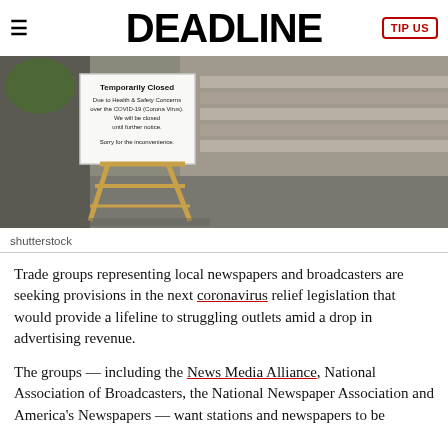DEADLINE
[Figure (photo): A 'Temporarily Closed' sign on an easel outside a building with steps, citing COVID-19 Health & Safety Concerns. Shutterstock photo.]
shutterstock
Trade groups representing local newspapers and broadcasters are seeking provisions in the next coronavirus relief legislation that would provide a lifeline to struggling outlets amid a drop in advertising revenue.
The groups — including the News Media Alliance, National Association of Broadcasters, the National Newspaper Association and America's Newspapers — want stations and newspapers to be